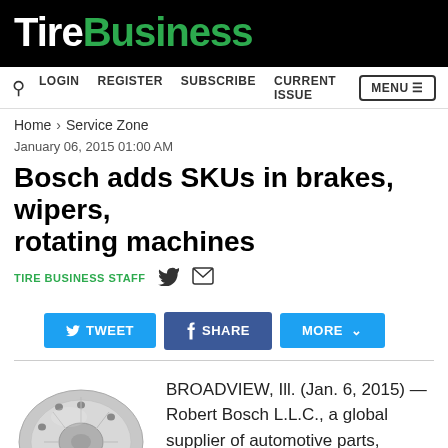Tire Business
LOGIN  REGISTER  SUBSCRIBE  CURRENT ISSUE  MENU
Home > Service Zone
January 06, 2015 01:00 AM
Bosch adds SKUs in brakes, wipers, rotating machines
TIRE BUSINESS STAFF
TWEET  SHARE  MORE
[Figure (photo): A silver brake rotor/disc]
BROADVIEW, Ill. (Jan. 6, 2015) — Robert Bosch L.L.C., a global supplier of automotive parts, recently added 20 part numbers